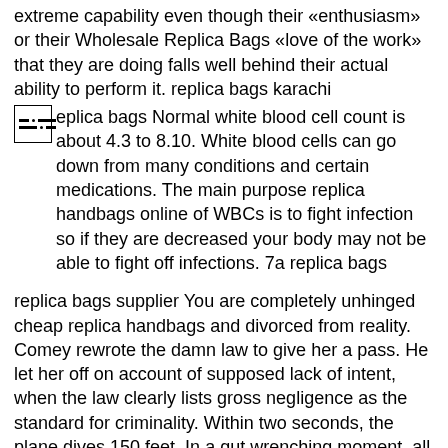extreme capability even though their «enthusiasm» or their Wholesale Replica Bags «love of the work» that they are doing falls well behind their actual ability to perform it. replica bags karachi
replica bags Normal white blood cell count is about 4.3 to 8.10. White blood cells can go down from many conditions and certain medications. The main purpose replica handbags online of WBCs is to fight infection so if they are decreased your body may not be able to fight off infections. 7a replica bags
replica bags supplier You are completely unhinged cheap replica handbags and divorced from reality. Comey rewrote the damn law to give her a pass. He let her off on account of supposed lack of intent, when the law clearly lists gross negligence as the standard for criminality. Within two seconds, the plane dives 150 feet. In a gut wrenching moment, all the two pilots can see through the cockpit window is the blue of the Indian Ocean. «Is my life going to end here today?» Sullivan asks himself. replica bags